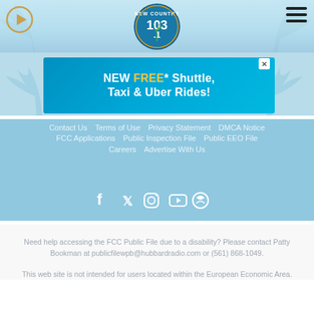[Figure (logo): New Country 103.1 radio station logo — circular badge with palm tree]
[Figure (illustration): Advertisement banner: NEW FREE* Shuttle, Taxi & Uber Rides! on teal/blue background with X close button]
Contact Us  Terms of Use  Privacy Statement  DMCA Notice  FCC Applications  Public Inspection File  Public EEO File  Careers  Advertise With Us
[Figure (infographic): Social media icons: Facebook, Twitter, Instagram, YouTube, and another circular icon]
Need help accessing the FCC Public File due to a disability? Please contact Patty Bookman at publicfilewpb@hubbardradio.com or (561) 868-1049.
This web site is not intended for users located within the European Economic Area.